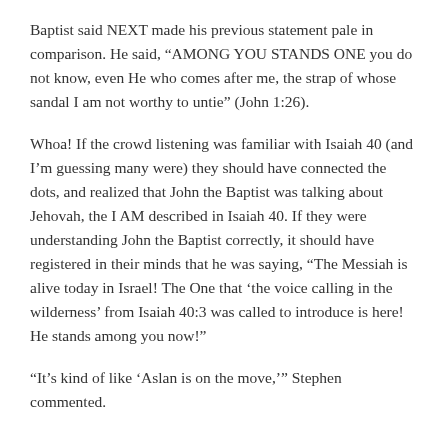Baptist said NEXT made his previous statement pale in comparison. He said, “AMONG YOU STANDS ONE you do not know, even He who comes after me, the strap of whose sandal I am not worthy to untie” (John 1:26).
Whoa! If the crowd listening was familiar with Isaiah 40 (and I’m guessing many were) they should have connected the dots, and realized that John the Baptist was talking about Jehovah, the I AM described in Isaiah 40. If they were understanding John the Baptist correctly, it should have registered in their minds that he was saying, “The Messiah is alive today in Israel! The One that ‘the voice calling in the wilderness’ from Isaiah 40:3 was called to introduce is here! He stands among you now!”
“It’s kind of like ‘Aslan is on the move,’” Stephen commented.